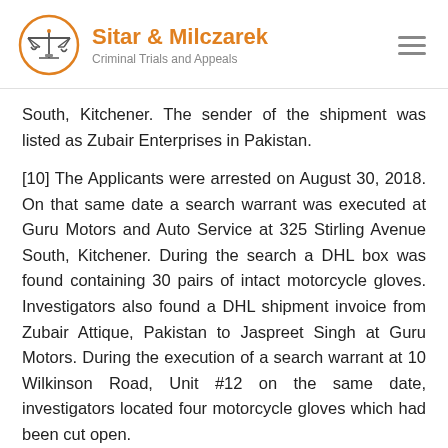Sitar & Milczarek — Criminal Trials and Appeals
South, Kitchener. The sender of the shipment was listed as Zubair Enterprises in Pakistan.
[10] The Applicants were arrested on August 30, 2018. On that same date a search warrant was executed at Guru Motors and Auto Service at 325 Stirling Avenue South, Kitchener. During the search a DHL box was found containing 30 pairs of intact motorcycle gloves. Investigators also found a DHL shipment invoice from Zubair Attique, Pakistan to Jaspreet Singh at Guru Motors. During the execution of a search warrant at 10 Wilkinson Road, Unit #12 on the same date, investigators located four motorcycle gloves which had been cut open.